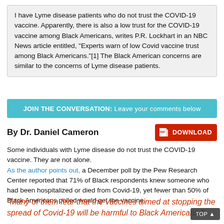I have Lyme disease patients who do not trust the COVID-19 vaccine. Apparently, there is also a low trust for the COVID-19 vaccine among Black Americans, writes P.R. Lockhart in an NBC News article entitled, "Experts warn of low Covid vaccine trust among Black Americans."[1] The Black American concerns are similar to the concerns of Lyme disease patients.
JOIN THE CONVERSATION: Leave your comments below
By Dr. Daniel Cameron
[Figure (other): Red download button with PDF icon]
Some individuals with Lyme disease do not trust the COVID-19 vaccine. They are not alone. As the author points out, a December poll by the Pew Research Center reported that 71% of Black respondents knew someone who had been hospitalized or died from Covid-19, yet fewer than 50% of Black Americans polled would get the vaccine.
"Many of them fear that the vaccines aimed at stopping the spread of Covid-19 will be harmful to Black Americans."